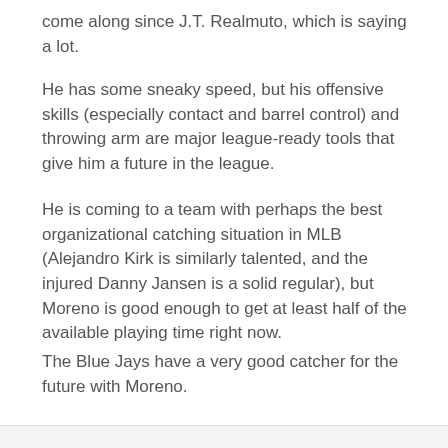come along since J.T. Realmuto, which is saying a lot.
He has some sneaky speed, but his offensive skills (especially contact and barrel control) and throwing arm are major league-ready tools that give him a future in the league.
He is coming to a team with perhaps the best organizational catching situation in MLB (Alejandro Kirk is similarly talented, and the injured Danny Jansen is a solid regular), but Moreno is good enough to get at least half of the available playing time right now.
The Blue Jays have a very good catcher for the future with Moreno.